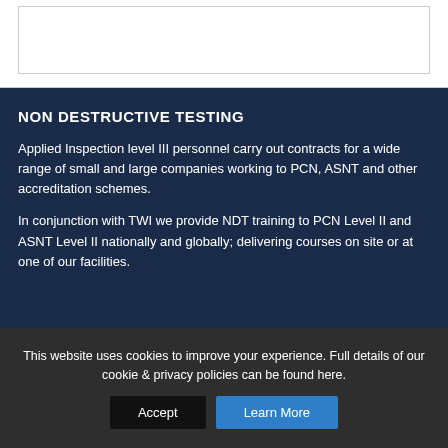[Figure (other): Empty white box with border at top of page]
NON DESTRUCTIVE TESTING
Applied Inspection level III personnel carry out contracts for a wide range of small and large companies working to PCN, ASNT and other accreditation schemes.
In conjunction with TWI we provide NDT training to PCN Level II and ASNT Level II nationally and globally; delivering courses on site or at one of our facilities.
This website uses cookies to improve your experience. Full details of our cookie & privacy policies can be found here.
Accept
Learn More